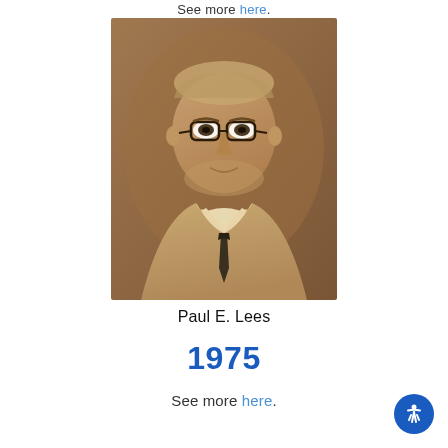See more here.
[Figure (photo): Sepia-toned formal portrait photograph of Paul E. Lees, an older gentleman wearing glasses, a suit jacket, and a dark tie, with a neutral background.]
Paul E. Lees
1975
See more here.